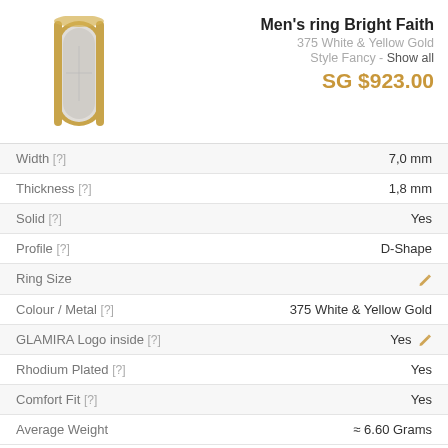[Figure (photo): Men's ring Bright Faith - two-tone white and yellow gold band, shown vertically]
Men's ring Bright Faith
375 White & Yellow Gold
Style Fancy - Show all
SG $923.00
| Property | Value |
| --- | --- |
| Width [?] | 7,0 mm |
| Thickness [?] | 1,8 mm |
| Solid [?] | Yes |
| Profile [?] | D-Shape |
| Ring Size | ✎ |
| Colour / Metal [?] | 375 White & Yellow Gold |
| GLAMIRA Logo inside [?] | Yes ✎ |
| Rhodium Plated [?] | Yes |
| Comfort Fit [?] | Yes |
| Average Weight | ≈ 6.60 Grams |